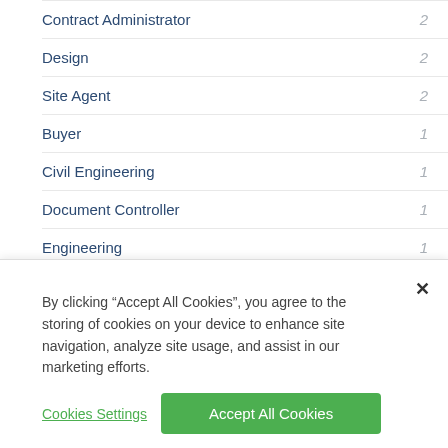Contract Administrator 2
Design 2
Site Agent 2
Buyer 1
Civil Engineering 1
Document Controller 1
Engineering 1
▶ More
▶ RECRUITERS
Randstad Cpe 10
By clicking “Accept All Cookies”, you agree to the storing of cookies on your device to enhance site navigation, analyze site usage, and assist in our marketing efforts.
Cookies Settings
Accept All Cookies